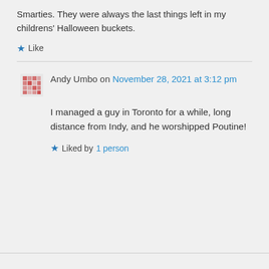Smarties. They were always the last things left in my childrens' Halloween buckets.
★ Like
Andy Umbo on November 28, 2021 at 3:12 pm
I managed a guy in Toronto for a while, long distance from Indy, and he worshipped Poutine!
★ Liked by 1 person